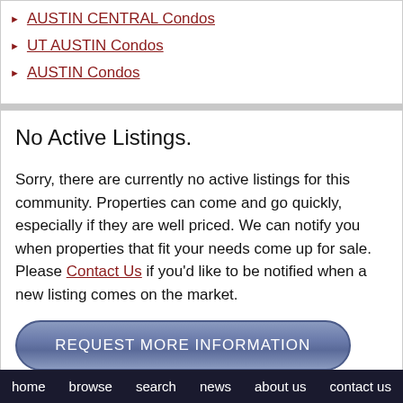AUSTIN CENTRAL Condos
UT AUSTIN Condos
AUSTIN Condos
No Active Listings.
Sorry, there are currently no active listings for this community. Properties can come and go quickly, especially if they are well priced. We can notify you when properties that fit your needs come up for sale. Please Contact Us if you'd like to be notified when a new listing comes on the market.
REQUEST MORE INFORMATION
Featured Agent: Betty Epperson
home   browse   search   news   about us   contact us